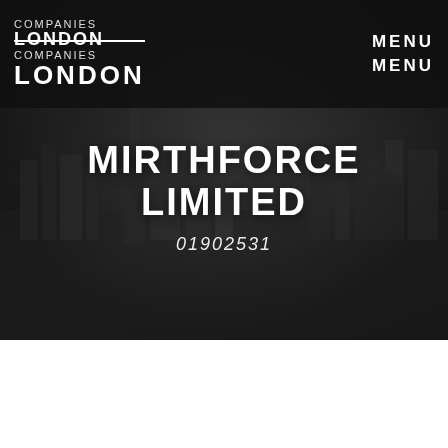COMPANIES LONDON COMPANIES LONDON LONDON
MENU MENU
MIRTHFORCE LIMITED
01902531